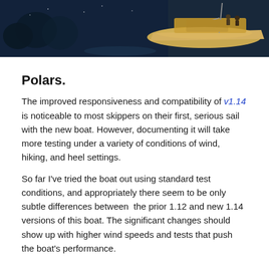[Figure (photo): Dark nighttime aerial photo of a sailboat with warm deck lighting on the right side, water and trees visible below on the left.]
Polars.
The improved responsiveness and compatibility of v1.14 is noticeable to most skippers on their first, serious sail with the new boat. However, documenting it will take more testing under a variety of conditions of wind, hiking, and heel settings.
So far I've tried the boat out using standard test conditions, and appropriately there seem to be only subtle differences between the prior 1.12 and new 1.14 versions of this boat. The significant changes should show up with higher wind speeds and tests that push the boat's performance.